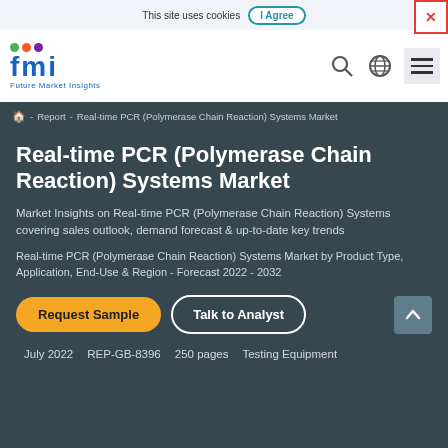This site uses cookies  I Agree  ✕
[Figure (logo): Future Market Insights (fmi) logo with green, orange, and purple dots above the letters]
🏠 - Report - Real-time PCR (Polymerase Chain Reaction) Systems Market
Real-time PCR (Polymerase Chain Reaction) Systems Market
Market Insights on Real-time PCR (Polymerase Chain Reaction) Systems covering sales outlook, demand forecast & up-to-date key trends
Real-time PCR (Polymerase Chain Reaction) Systems Market by Product Type, Application, End-Use & Region - Forecast 2022 - 2032
Request Sample   Talk to Analyst
July 2022   REP-GB-8396   250 pages   Testing Equipment